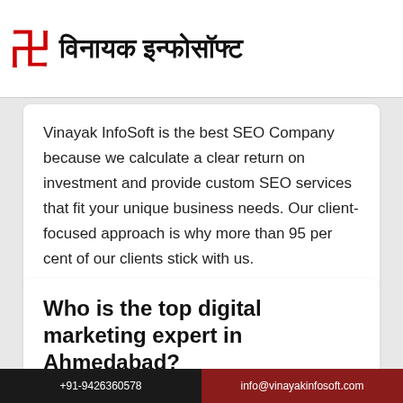[Figure (logo): Vinayak InfoSoft logo with red swastika symbol and Hindi text विनायक इन्फोसॉफ्ट]
Vinayak InfoSoft is the best SEO Company because we calculate a clear return on investment and provide custom SEO services that fit your unique business needs. Our client-focused approach is why more than 95 per cent of our clients stick with us.
Who is the top digital marketing expert in Ahmedabad?
+91-9426360578   info@vinayakinfosoft.com